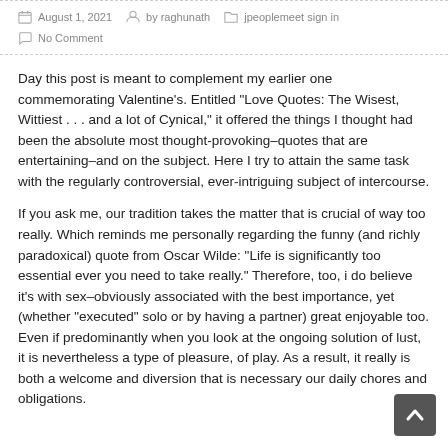August 1, 2021  by raghunath  jpeoplemeet sign in  No Comment
Day this post is meant to complement my earlier one commemorating Valentine's. Entitled "Love Quotes: The Wisest, Wittiest . . . and a lot of Cynical," it offered the things I thought had been the absolute most thought-provoking–quotes that are entertaining–and on the subject. Here I try to attain the same task with the regularly controversial, ever-intriguing subject of intercourse.
If you ask me, our tradition takes the matter that is crucial of way too really. Which reminds me personally regarding the funny (and richly paradoxical) quote from Oscar Wilde: "Life is significantly too essential ever you need to take really." Therefore, too, i do believe it's with sex–obviously associated with the best importance, yet (whether "executed" solo or by having a partner) great enjoyable too. Even if predominantly when you look at the ongoing solution of lust, it is nevertheless a type of pleasure, of play. As a result, it really is both a welcome and diversion that is necessary our daily chores and obligations.